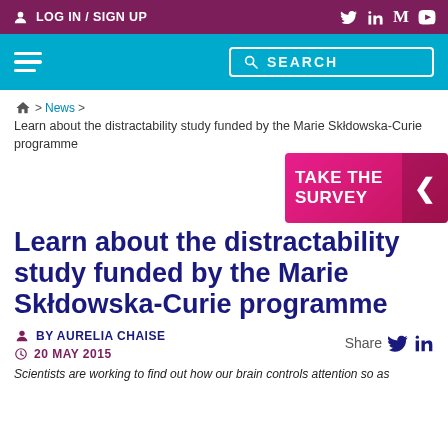LOG IN / SIGN UP
[Figure (screenshot): Navigation bar with hamburger menu and search box]
Home > News > Learn about the distractability study funded by the Marie Skłdowska-Curie programme
[Figure (illustration): TAKE THE SURVEY button with arrow]
Learn about the distractability study funded by the Marie Skłdowska-Curie programme
BY AURELIA CHAISE
20 MAY 2015
Scientists are working to find out how our brain controls attention so as